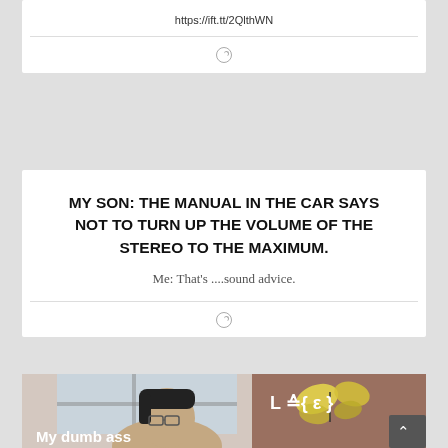https://ift.tt/2QlthWN
MY SON: THE MANUAL IN THE CAR SAYS NOT TO TURN UP THE VOLUME OF THE STEREO TO THE MAXIMUM.
Me: That's ....sound advice.
[Figure (photo): Meme image showing a person with text 'My dumb ass' and a butterfly with math notation 'L = { ε }' with a back-to-top button overlay]